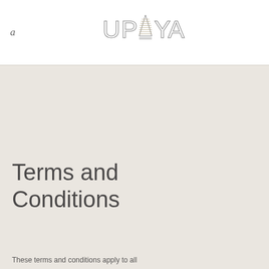a  UPAYA
Terms and Conditions
These terms and conditions apply to all